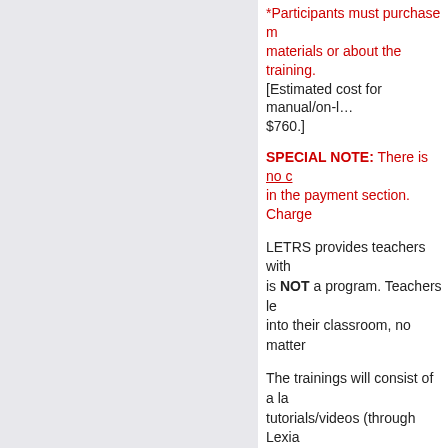*Participants must purchase materials or about the training. [Estimated cost for manual/on-line resources is $760.]
SPECIAL NOTE: There is no charge in the payment section. Charge
LETRS provides teachers with … is NOT a program. Teachers learn… into their classroom, no matter…
The trainings will consist of a la… tutorials/videos (through Lexia… be asked to apply the informati…
Session Topics
Launch: Introduction and Pre-A…
Session 1: The Challenge of Le…
Session 2: The Speech Sounds…
Session 3: Teaching Beginning…
Session 4: Advanced Decoding…
5. LETRS: Language Essenti…
Program: RPDC - Northeast
Location: 4 Huntsville, MO (Hunts…
Audience: K-6 Teachers, Title Tea…
Dates: 8/4/2022 to 4/6/2023